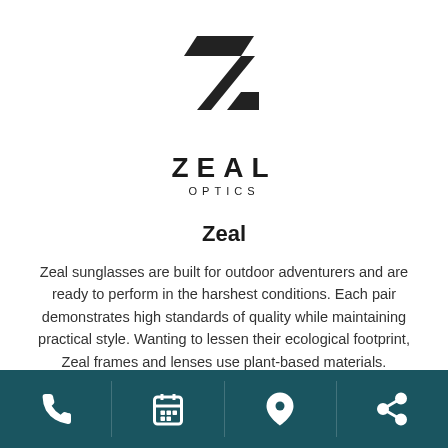[Figure (logo): Zeal Optics logo — geometric Z shape made of parallelogram slashes, with 'ZEAL' in bold spaced capitals and 'OPTICS' in smaller spaced capitals below]
Zeal
Zeal sunglasses are built for outdoor adventurers and are ready to perform in the harshest conditions. Each pair demonstrates high standards of quality while maintaining practical style. Wanting to lessen their ecological footprint, Zeal frames and lenses use plant-based materials.
[Figure (infographic): Row of social media icons: Facebook, Twitter, Instagram, Globe/Website — displayed in gray]
[Figure (infographic): Dark teal footer bar with four icons: phone, calendar, map pin, share]